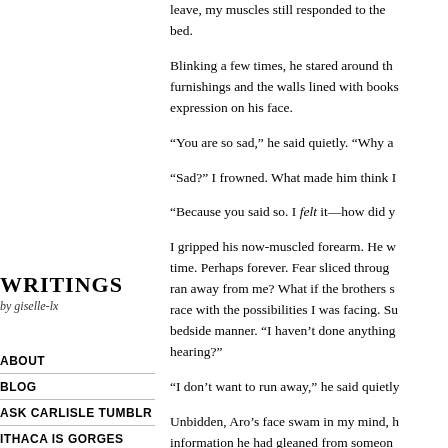leave, my muscles still responded to the bed.
Blinking a few times, he stared around the furnishings and the walls lined with books, expression on his face.
“You are so sad,” he said quietly. “Why a
“Sad?” I frowned. What made him think I
“Because you said so. I felt it—how did y
I gripped his now-muscled forearm. He w time. Perhaps forever. Fear sliced throug ran away from me? What if the brothers s race with the possibilities I was facing. Su bedside manner. “I haven’t done anything hearing?”
“I don’t want to run away,” he said quietly
Unbidden, Aro’s face swam in my mind, h information he had gleaned from someon
Writings
by giselle-lx
ABOUT
BLOG
ASK CARLISLE TUMBLR
ITHACA IS GORGES
STREGONI BENEFICI
ONE DAY